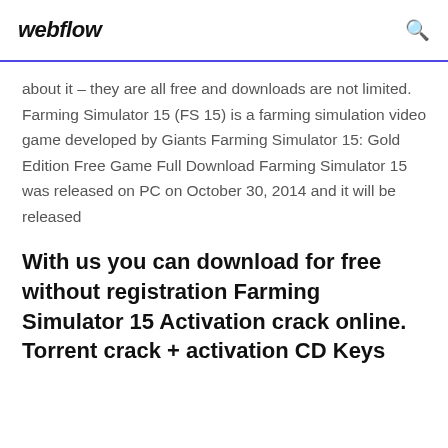webflow
about it – they are all free and downloads are not limited. Farming Simulator 15 (FS 15) is a farming simulation video game developed by Giants Farming Simulator 15: Gold Edition Free Game Full Download Farming Simulator 15 was released on PC on October 30, 2014 and it will be released
With us you can download for free without registration Farming Simulator 15 Activation crack online. Torrent crack + activation CD Keys